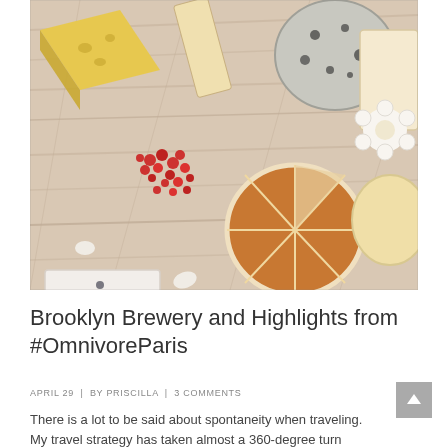[Figure (photo): A top-down photo of an assortment of French cheeses on a wooden board — including blue cheese, semi-hard cheese with wedge cuts, yellow Swiss-style cheese, and red berry garnishes, along with red quince paste slices and flower garnish.]
Brooklyn Brewery and Highlights from #OmnivoreParis
APRIL 29  |  BY PRISCILLA  |  3 COMMENTS
There is a lot to be said about spontaneity when traveling. My travel strategy has taken almost a 360-degree turn